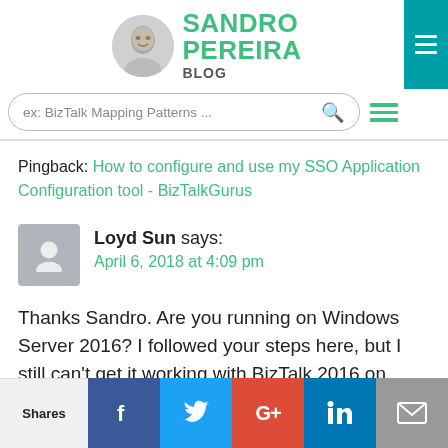[Figure (logo): Sandro Pereira Blog logo with avatar photo and green text]
ex: BizTalk Mapping Patterns ...
Pingback: How to configure and use my SSO Application Configuration tool - BizTalkGurus
Loyd Sun says:
April 6, 2018 at 4:09 pm
Thanks Sandro. Are you running on Windows Server 2016? I followed your steps here, but I still can't get it working with BizTalk 2016 on Windows Server
[Figure (infographic): Social share bar with Facebook, Twitter, Google+, LinkedIn, and email buttons]